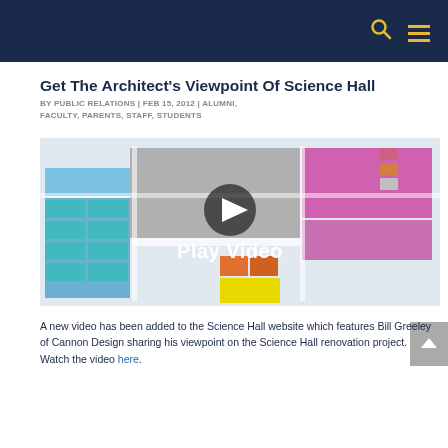Get The Architect's Viewpoint Of Science Hall
BY PUBLIC RELATIONS | FEB 15, 2012 | ALUMNI, FACULTY, PARENTS, STAFF, STUDENTS
[Figure (screenshot): Architectural floor plan of Science Hall with a Play Video button overlay and a play icon in the center]
A new video has been added to the Science Hall website which features Bill Greeley of Cannon Design sharing his viewpoint on the Science Hall renovation project.  Watch the video here.